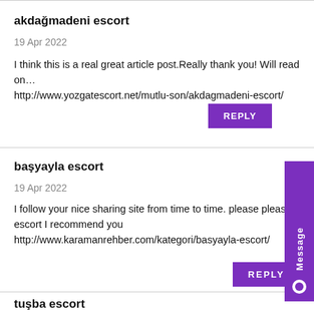akdağmadeni escort
19 Apr 2022
I think this is a real great article post.Really thank you! Will read on… http://www.yozgatescort.net/mutlu-son/akdagmadeni-escort/
başyayla escort
19 Apr 2022
I follow your nice sharing site from time to time. please please n escort I recommend you http://www.karamanrehber.com/kategori/basyayla-escort/
tuşba escort
19 Apr 2022